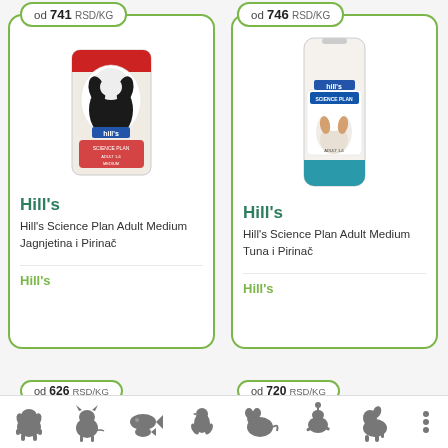od 741 RSD/kg
[Figure (photo): Hill's Science Plan Adult Medium dog food bag with lamb and rice, featuring a spaniel dog on the packaging]
Hill's
Hill's Science Plan Adult Medium Jagnjetina i Pirinač
Hill's
od 746 RSD/kg
[Figure (photo): Hill's Science Plan Adult Medium dog food bag with tuna and rice, slim bag shape with a spaniel dog on the packaging]
Hill's
Hill's Science Plan Adult Medium Tuna i Pirinač
Hill's
od 626 RSD/kg
od 720 RSD/kg
[Figure (infographic): Bottom navigation bar with animal category icons: dog, cat, fish, bird, rodent, reptile, horse, and more menu dots]